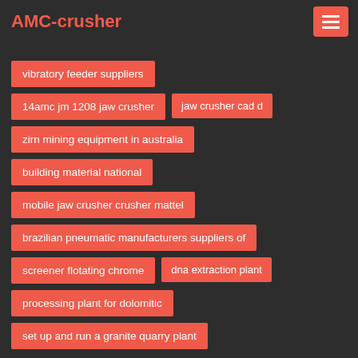AMC-crusher
vibratory feeder suppliers
14amc jm 1208 jaw crusher
jaw crusher cad d
zirn mining equipment in australia
building material national
mobile jaw crusher crusher mattel
brazilian pneumatic manufacturers suppliers of
screener flotating chrome
dna extraction plant
processing plant for dolomitic
set up and run a granite quarry plant